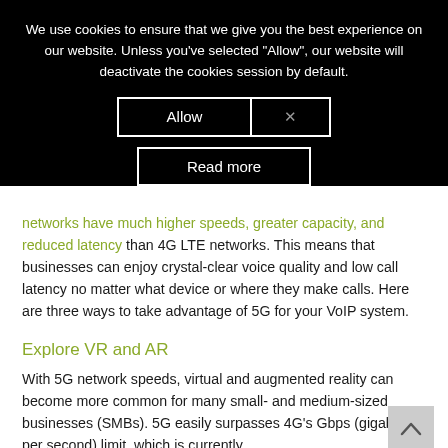We use cookies to ensure that we give you the best experience on our website. Unless you've selected "Allow", our website will deactivate the cookies session by default.
Allow | × | Read more
networks have much higher speeds, greater capacity, and reduced latency than 4G LTE networks. This means that businesses can enjoy crystal-clear voice quality and low call latency no matter what device or where they make calls. Here are three ways to take advantage of 5G for your VoIP system.
Explore VR and AR
With 5G network speeds, virtual and augmented reality can become more common for many small- and medium-sized businesses (SMBs). 5G easily surpasses 4G's Gbps (gigabits per second) limit, which is currently